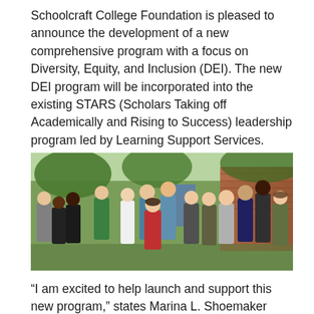Schoolcraft College Foundation is pleased to announce the development of a new comprehensive program with a focus on Diversity, Equity, and Inclusion (DEI). The new DEI program will be incorporated into the existing STARS (Scholars Taking off Academically and Rising to Success) leadership program led by Learning Support Services.
[Figure (photo): Group photo of approximately 14 students standing outdoors in front of brick building and trees, smiling at the camera.]
“I am excited to help launch and support this new program,” states Marina L. Shoemaker